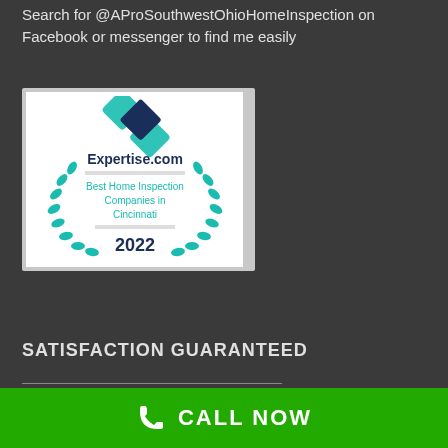Search for @AProSouthwestOhioHomeInspection on Facebook or messenger to find me easily
[Figure (logo): Expertise.com badge: Best Home Inspection Companies in Cincinnati 2022, with teal diamond logo and laurel wreath]
SATISFACTION GUARANTEED
CALL NOW